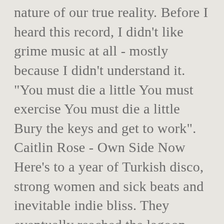nature of our true reality. Before I heard this record, I didn't like grime music at all - mostly because I didn't understand it. "You must die a little You must exercise You must die a little Bury the keys and get to work". Caitlin Rose - Own Side Now Here's to a year of Turkish disco, strong women and sick beats and inevitable indie bliss. They eventually reached the lagoon, about 4.5km from North Stradbroke Island, on Tuesday and found the two-metre adult dolphin was uninjured. Do it. Â Poetic, evocative and smile inducing, regardless of how bad a year youâ□□ve had. My number one pick is TALLIES. Their ability to update and change their songs into something new and exciting is mind blowing.